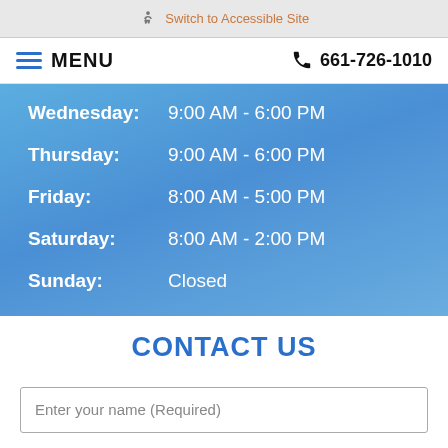♿ Switch to Accessible Site
≡ MENU   📞 661-726-1010
Wednesday: 9:00 AM - 6:00 PM
Thursday: 9:00 AM - 6:00 PM
Friday: 8:00 AM - 5:00 PM
Saturday: 8:00 AM - 2:00 PM
Sunday: Closed
CONTACT US
Enter your name (Required)